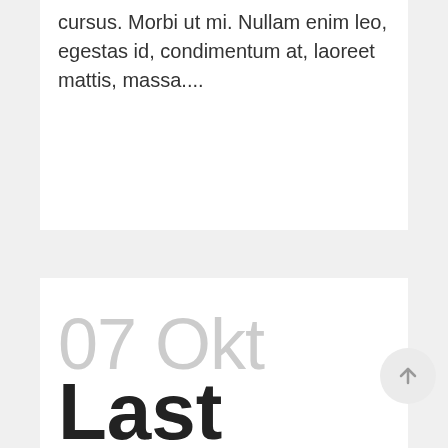cursus. Morbi ut mi. Nullam enim leo, egestas id, condimentum at, laoreet mattis, massa....
Read More
07 Okt
Last